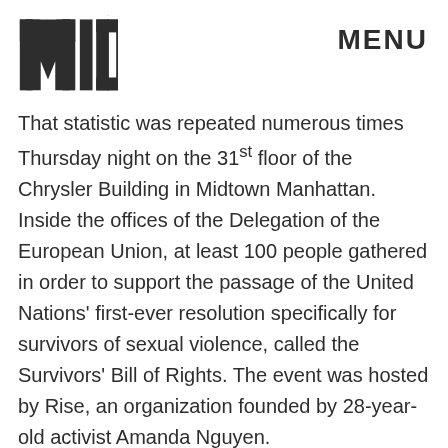MIC   MENU
That statistic was repeated numerous times Thursday night on the 31st floor of the Chrysler Building in Midtown Manhattan. Inside the offices of the Delegation of the European Union, at least 100 people gathered in order to support the passage of the United Nations' first-ever resolution specifically for survivors of sexual violence, called the Survivors' Bill of Rights. The event was hosted by Rise, an organization founded by 28-year-old activist Amanda Nguyen.
Nguyen opened the affair, dubbed the U.N. Survivor